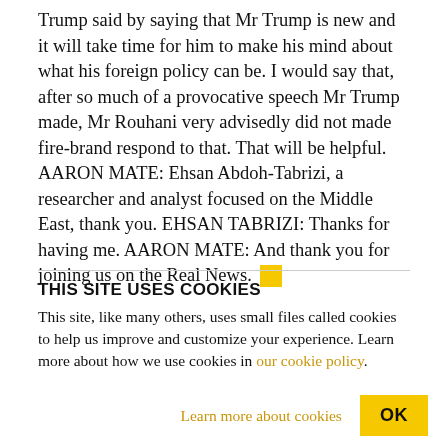Trump said by saying that Mr Trump is new and it will take time for him to make his mind about what his foreign policy can be. I would say that, after so much of a provocative speech Mr Trump made, Mr Rouhani very advisedly did not made fire-brand respond to that. That will be helpful. AARON MATE: Ehsan Abdoh-Tabrizi, a researcher and analyst focused on the Middle East, thank you. EHSAN TABRIZI: Thanks for having me. AARON MATE: And thank you for joining us on the Real News. [yellow square]
THIS SITE USES COOKIES
This site, like many others, uses small files called cookies to help us improve and customize your experience. Learn more about how we use cookies in our cookie policy.
Learn more about cookies
OK